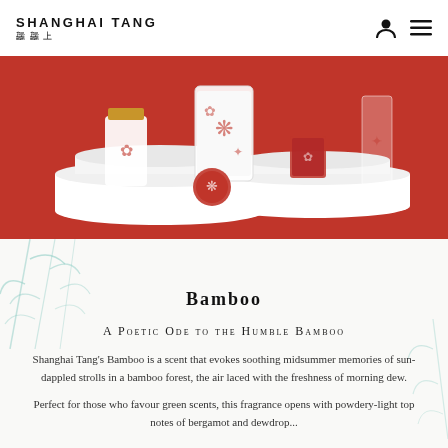SHANGHAI TANG 上海滩
[Figure (photo): Shanghai Tang fragrance and candle products displayed on white tiered pedestals against a red background. Products include a perfume bottle with gold cap featuring red floral design, a large cylindrical candle with red botanical print, a small red marbled candle, and red glass votives.]
[Figure (illustration): Light teal/mint watercolor bamboo leaves decorative illustration in corner]
Bamboo
A POETIC ODE TO THE HUMBLE BAMBOO
Shanghai Tang's Bamboo is a scent that evokes soothing midsummer memories of sun-dappled strolls in a bamboo forest, the air laced with the freshness of morning dew.
Perfect for those who favour green scents, this fragrance opens with powdery-light top notes of bergamot and dewdrop...